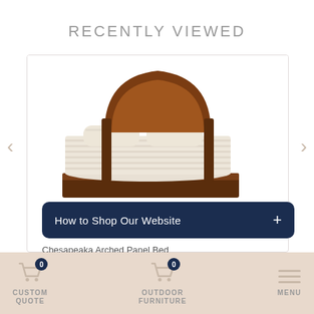RECENTLY VIEWED
[Figure (photo): Chesapeaka Arched Panel Bed - a wooden bed frame with arched headboard in dark walnut finish, shown with white striped bedding]
How to Shop Our Website +
Chesapeaka Arched Panel Bed
CUSTOM QUOTE 0 | OUTDOOR FURNITURE 0 | MENU